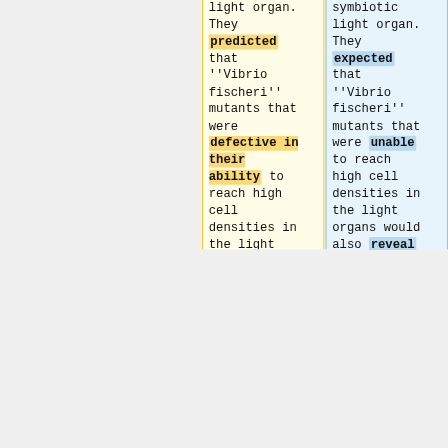light organ. They predicted that ''Vibrio fischeri'' mutants that were defective in their ability to reach high cell densities in the light organs would also display defects in their symbiotic luminescence levels. They
symbiotic light organ. They expected that ''Vibrio fischeri'' mutants that were unable to reach high cell densities in the light organs would also reveal defects in their symbiotic luminescence levels. They were indeed correct